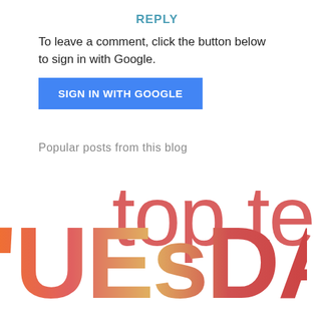REPLY
To leave a comment, click the button below to sign in with Google.
[Figure (screenshot): Blue button labeled SIGN IN WITH GOOGLE]
Popular posts from this blog
[Figure (illustration): Large colorful text showing 'top te' and 'TUESDAY' partially visible, in red, orange and gradient colors]